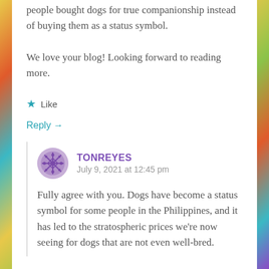people bought dogs for true companionship instead of buying them as a status symbol.
We love your blog! Looking forward to reading more.
Like
Reply →
TONREYES
July 9, 2021 at 12:45 pm
Fully agree with you. Dogs have become a status symbol for some people in the Philippines, and it has led to the stratospheric prices we're now seeing for dogs that are not even well-bred.